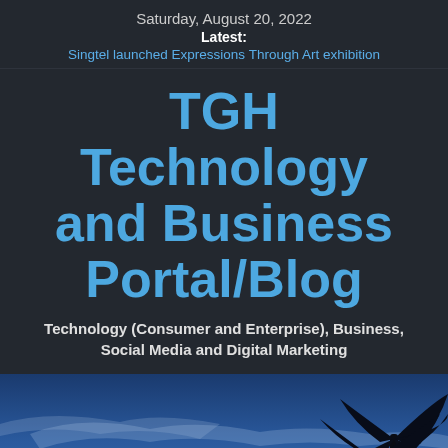Saturday, August 20, 2022
Latest:
Singtel launched Expressions Through Art exhibition
TGH Technology and Business Portal/Blog
Technology (Consumer and Enterprise), Business, Social Media and Digital Marketing
[Figure (photo): Twilight sky with silhouetted palm trees on the right side, blue and purple hues with wispy clouds]